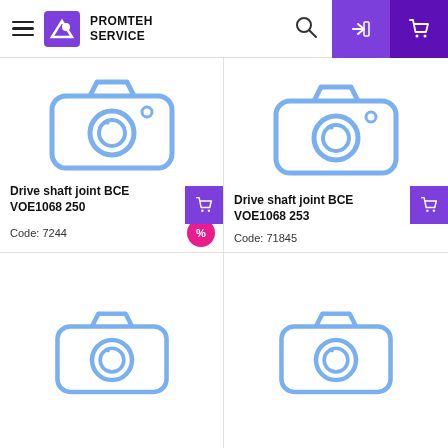PROMTEH SERVICE
[Figure (illustration): Camera placeholder icon (blue outline) for product Drive shaft joint BCE VOE1068250]
Drive shaft joint BCE VOE1068250
Code: 7244
[Figure (illustration): Camera placeholder icon (blue outline) for product Drive shaft joint BCE VOE1068253]
Drive shaft joint BCE VOE1068253
Code: 71845
[Figure (illustration): Camera placeholder icon (blue outline) — product row 2 left]
[Figure (illustration): Camera placeholder icon (blue outline) — product row 2 right]